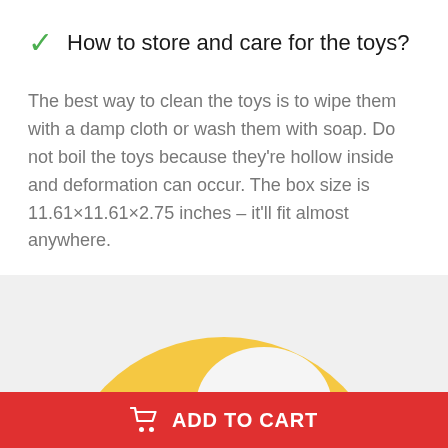How to store and care for the toys?
The best way to clean the toys is to wipe them with a damp cloth or wash them with soap. Do not boil the toys because they're hollow inside and deformation can occur. The box size is 11.61×11.61×2.75 inches – it'll fit almost anywhere.
[Figure (photo): A child wearing a white chef hat against a yellow circular background on a light gray backdrop, partially visible (cropped at bottom).]